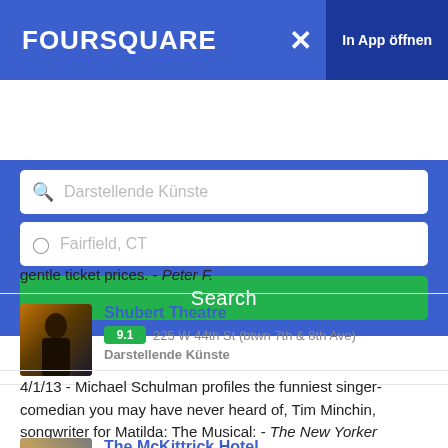FOURSQUARE
Darstellende Künste [search field]
Fairfield, CT [location field]
Search
gentle ticket prices. - Peter F.
Shubert Theatre
9.1  225 W 44th St (btwn 7th & 8th Ave)
Darstellende Künste
4/1/13 - Michael Schulman profiles the funniest singer-comedian you may have never heard of, Tim Minchin, songwriter for Matilda: The Musical: - The New Yorker
The McKittrick Hotel
9.1  530 W 27th St (btwn 10th & 11th Ave)
Darstellende Künste
If the only thing that comes off at the unmasking hour is the